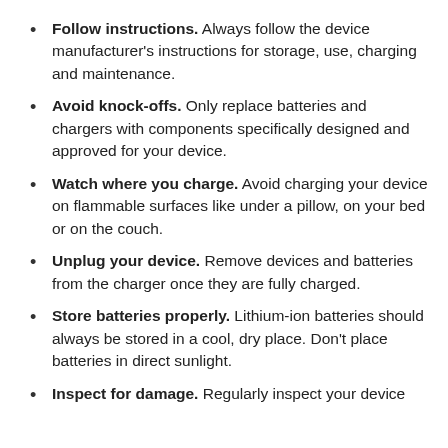Follow instructions. Always follow the device manufacturer's instructions for storage, use, charging and maintenance.
Avoid knock-offs. Only replace batteries and chargers with components specifically designed and approved for your device.
Watch where you charge. Avoid charging your device on flammable surfaces like under a pillow, on your bed or on the couch.
Unplug your device. Remove devices and batteries from the charger once they are fully charged.
Store batteries properly. Lithium-ion batteries should always be stored in a cool, dry place. Don't place batteries in direct sunlight.
Inspect for damage. Regularly inspect your device